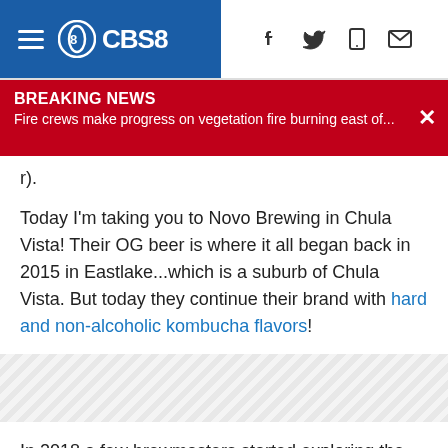CBS8
BREAKING NEWS
Fire crews make progress on vegetation fire burning east of...
r).
Today I'm taking you to Novo Brewing in Chula Vista! Their OG beer is where it all began back in 2015 in Eastlake...which is a suburb of Chula Vista. But today they continue their brand with hard and non-alcoholic kombucha flavors!
[Figure (other): Advertisement placeholder with diagonal stripe pattern]
In 2018 a few brewmasters started exploring the world of fermentation, looking for healthier more natural ways of making kombucha drinks. At Novo Brewing, they say they source the highest natural ingredients to give you